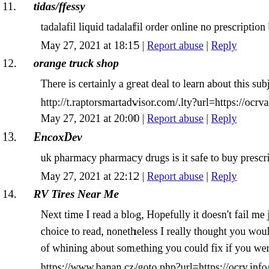11. tidas/ffessy
tadalafil liquid tadalafil order online no prescription buy tadala…
May 27, 2021 at 18:15 | Report abuse | Reply
12. orange truck shop
There is certainly a great deal to learn about this subject. I real…
http://t.raptorsmartadvisor.com/.lty?url=https://ocrvart.com/rv-…
May 27, 2021 at 20:00 | Report abuse | Reply
13. EncoxDev
uk pharmacy pharmacy drugs is it safe to buy prescription drug…
May 27, 2021 at 22:12 | Report abuse | Reply
14. RV Tires Near Me
Next time I read a blog, Hopefully it doesn't fail me just as mu… choice to read, nonetheless I really thought you would have so… of whining about something you could fix if you weren't too b…
https://www.banan.cz/goto.php?url=https://ocrv.info/rv-repair-…
May 28, 2021 at 00:47 | Report abuse | Reply
15. RV Flooring Orange County